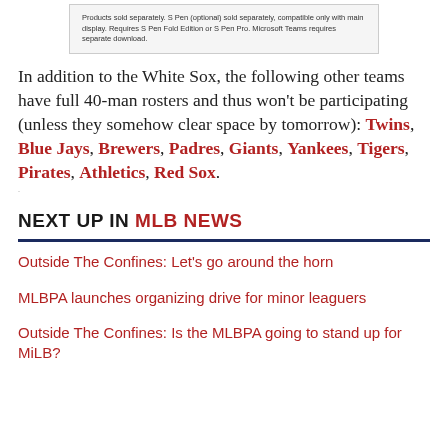Products sold separately. S Pen (optional) sold separately, compatible only with main display. Requires S Pen Fold Edition or S Pen Pro. Microsoft Teams requires separate download.
In addition to the White Sox, the following other teams have full 40-man rosters and thus won't be participating (unless they somehow clear space by tomorrow): Twins, Blue Jays, Brewers, Padres, Giants, Yankees, Tigers, Pirates, Athletics, Red Sox.
NEXT UP IN MLB NEWS
Outside The Confines: Let's go around the horn
MLBPA launches organizing drive for minor leaguers
Outside The Confines: Is the MLBPA going to stand up for MiLB?